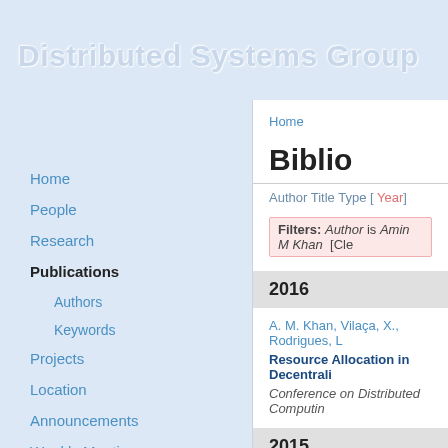Distributed Systems Group
Home
People
Research
Publications
Authors
Keywords
Projects
Location
Announcements
Weekly Meetings
Software
Former Members
Home
Biblio
Author Title Type [ Year ]
Filters: Author is Amin M Khan  [Cle
2016
A. M. Khan, Vilaça, X., Rodrigues, L
Resource Allocation in Decentrali
Conference on Distributed Computin
2015
M. Selimi, Khan, A. M., Dimogeronta
in the Guifi.net community netwo
300, 2015